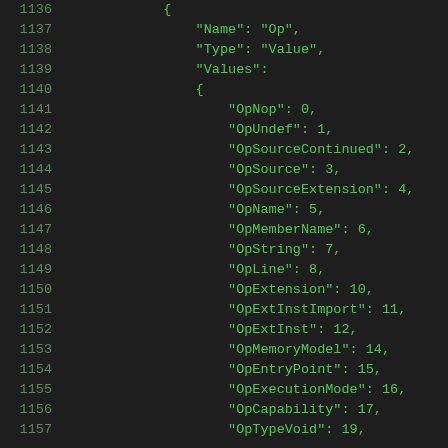Code listing lines 1136-1157 showing JSON structure with Op enum values
1136: {
1137:     "Name": "Op",
1138:     "Type": "Value",
1139:     "Values":
1140:     {
1141:         "OpNop": 0,
1142:         "OpUndef": 1,
1143:         "OpSourceContinued": 2,
1144:         "OpSource": 3,
1145:         "OpSourceExtension": 4,
1146:         "OpName": 5,
1147:         "OpMemberName": 6,
1148:         "OpString": 7,
1149:         "OpLine": 8,
1150:         "OpExtension": 10,
1151:         "OpExtInstImport": 11,
1152:         "OpExtInst": 12,
1153:         "OpMemoryModel": 14,
1154:         "OpEntryPoint": 15,
1155:         "OpExecutionMode": 16,
1156:         "OpCapability": 17,
1157:         "OpTypeVoid": 19,